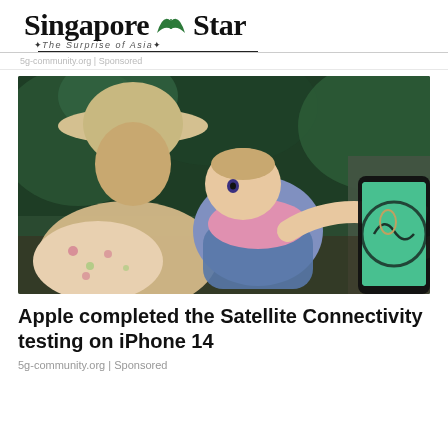Singapore Star — The Surprise of Asia
5g-community.org | Sponsored
[Figure (photo): A baby in denim overalls and pink shirt reaching toward a smartphone being held by an adult. The baby is being held by another adult wearing a floral outfit and sun hat. The background is a lush green outdoor setting.]
Apple completed the Satellite Connectivity testing on iPhone 14
5g-community.org | Sponsored